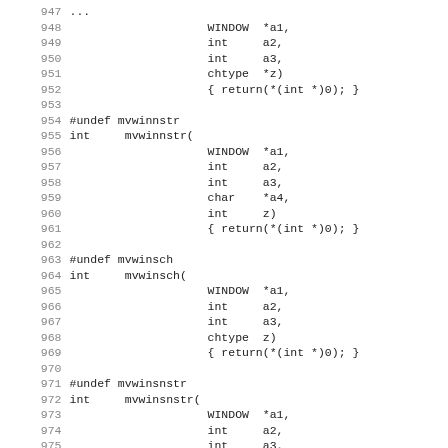947 ... mvwinstr(
948                     WINDOW  *a1,
949                     int     a2,
950                     int     a3,
951                     chtype  *z)
952                     { return(*(int *)0); }
953
954 #undef mvwinnstr
955 int     mvwinnstr(
956                     WINDOW  *a1,
957                     int     a2,
958                     int     a3,
959                     char    *a4,
960                     int     z)
961                     { return(*(int *)0); }
962
963 #undef mvwinsch
964 int     mvwinsch(
965                     WINDOW  *a1,
966                     int     a2,
967                     int     a3,
968                     chtype  z)
969                     { return(*(int *)0); }
970
971 #undef mvwinsnstr
972 int     mvwinsnstr(
973                     WINDOW  *a1,
974                     int     a2,
975                     int     a3,
976                     const char *a4,
977                     int     z)
978                     { return(*(int *)0); }
979